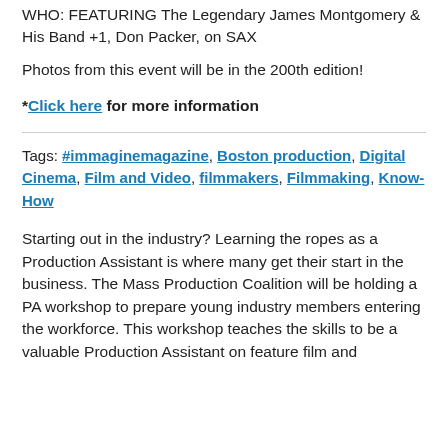WHO: FEATURING The Legendary James Montgomery & His Band +1, Don Packer, on SAX
Photos from this event will be in the 200th edition!
*Click here for more information
Tags: #immaginemagazine, Boston production, Digital Cinema, Film and Video, filmmakers, Filmmaking, Know-How
Starting out in the industry? Learning the ropes as a Production Assistant is where many get their start in the business. The Mass Production Coalition will be holding a PA workshop to prepare young industry members entering the workforce. This workshop teaches the skills to be a valuable Production Assistant on feature film and